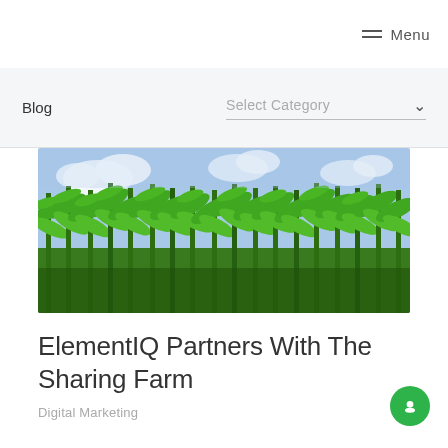Menu
Blog   Select Category
[Figure (photo): Photograph of a green corn field with tall corn stalks and leaves against a partly cloudy sky]
ElementIQ Partners With The Sharing Farm
Digital Marketing